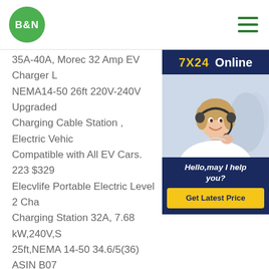B&N logo and navigation menu
[Figure (other): 7X24 Online chat widget with customer service representative photo, hello message, and Get Latest Price button]
35A-40A, Morec 32 Amp EV Charger Level 2, NEMA14-50 26ft 220V-240V Upgraded Portable EV Charging Cable Station , Electric Vehicle Charger Compatible with All EV Cars. 223 $329 Elecvlife Portable Electric Level 2 Charging Station 32A, 7.68 kW,240V,S 25ft,NEMA 14-50 34.6/5(36) ASIN B07 Brand BESENERGY Date First Available October 29, BESENERGY 32 Amp EV Charger Level 2, Morec 32 Amp EV Charger Level 2, NEMA14-50 26ft 220V-240V Upgraded Portable EV Charging Cable Station , Electric Vehicle Charger Compatible with All EV Cars. 4.4 out of 5 stars 329 $329.00 $ 329 .00